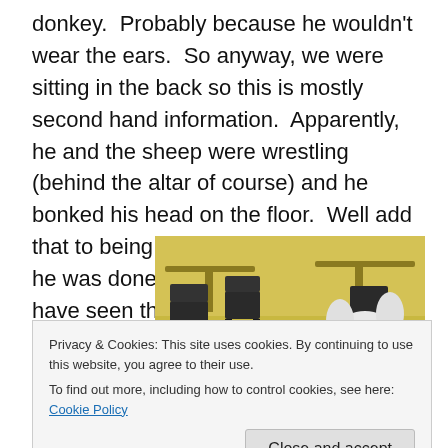donkey.  Probably because he wouldn't wear the ears.  So anyway, we were sitting in the back so this is mostly second hand information.  Apparently, he and the sheep were wrestling (behind the altar of course) and he bonked his head on the floor.  Well add that to being tired and overheated and he was done.  I kind of wish I could have seen the barnyard brawl.
[Figure (photo): A photo showing two children in a yellow/tan room with chairs and tables. One child is wearing a white sheep/lamb costume with ears, peeking from behind.]
Privacy & Cookies: This site uses cookies. By continuing to use this website, you agree to their use.
To find out more, including how to control cookies, see here: Cookie Policy
Close and accept